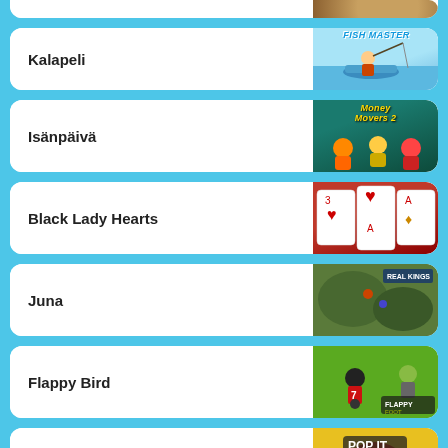Kalapeli
Isänpäivä
Black Lady Hearts
Juna
Flappy Bird
Pop It